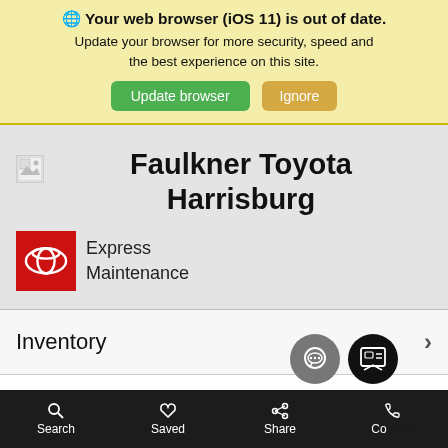🌐 Your web browser (iOS 11) is out of date. Update your browser for more security, speed and the best experience on this site.
[Figure (screenshot): Two buttons: green 'Update browser' and tan 'Ignore']
[Figure (logo): Broken image icon placeholder for dealership logo]
Faulkner Toyota Harrisburg
[Figure (logo): Toyota Express Maintenance red badge with Toyota logo]
Express Maintenance
Inventory
Search  Saved  Share  Contact